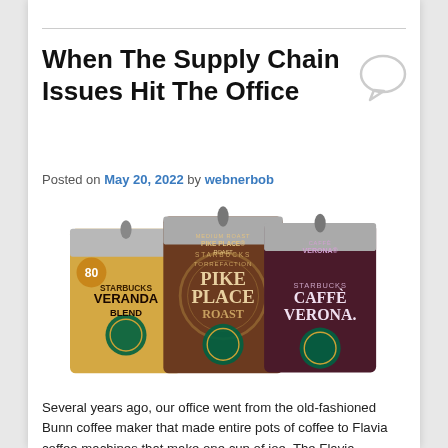When The Supply Chain Issues Hit The Office
Posted on May 20, 2022 by webnerbob
[Figure (photo): Three Starbucks Flavia coffee packets: Veranda Blend (light roast, tan/yellow packaging), Pike Place Roast (medium roast, brown packaging), and Caffe Verona (dark roast, dark purple/maroon packaging). Each has a metal tab at the top for insertion into Flavia coffee machines.]
Several years ago, our office went from the old-fashioned Bunn coffee maker that made entire pots of coffee to Flavia coffee machines that make one cup of joe. The Flavia machines use little packets of coffee, like those pictured above, that you insert into the machine to get your brew. My coffee of choice is the Pike Place roast. It's